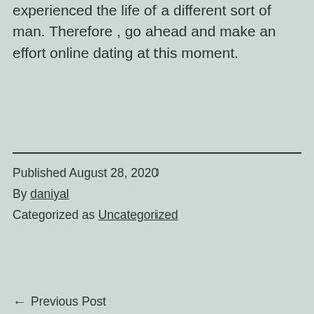experienced the life of a different sort of man. Therefore , go ahead and make an effort online dating at this moment.
Published August 28, 2020
By daniyal
Categorized as Uncategorized
← Previous Post